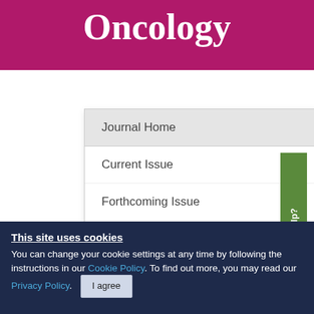Oncology
Journal Home
Current Issue
Forthcoming Issue
Special Issues
Most Read
Most Cited (Dimensions)
This site uses cookies
You can change your cookie settings at any time by following the instructions in our Cookie Policy. To find out more, you may read our Privacy Policy.